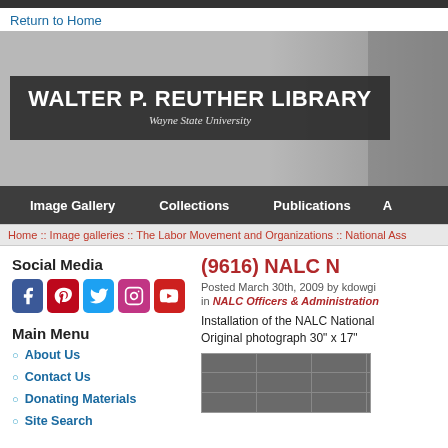Return to Home
[Figure (photo): Walter P. Reuther Library, Wayne State University hero banner with grayscale photo background]
Image Gallery   Collections   Publications
Home :: Image galleries :: The Labor Movement and Organizations :: National Ass
Social Media
[Figure (illustration): Social media icons: Facebook, Pinterest, Twitter, Instagram, YouTube]
Main Menu
About Us
Contact Us
Donating Materials
Site Search
(9616) NALC N
Posted March 30th, 2009 by kdowgi
in NALC Officers & Administration
Installation of the NALC National
Original photograph 30" x 17"
[Figure (photo): Partial view of a dark photograph thumbnail showing a grid pattern]